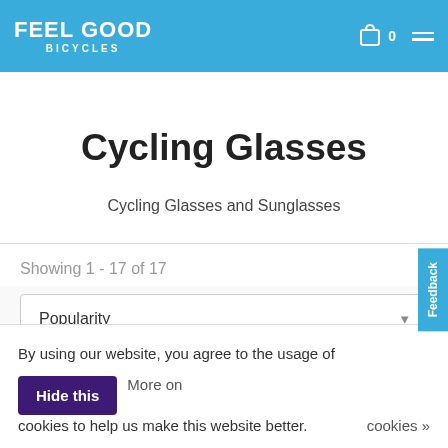FEEL GOOD BICYCLES
Cycling Glasses
Cycling Glasses and Sunglasses
Showing 1 - 17 of 17
Popularity
By using our website, you agree to the usage of cookies to help us make this website better. Hide this More on cookies »